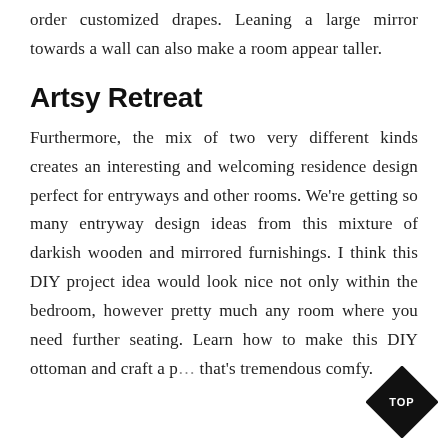order customized drapes. Leaning a large mirror towards a wall can also make a room appear taller.
Artsy Retreat
Furthermore, the mix of two very different kinds creates an interesting and welcoming residence design perfect for entryways and other rooms. We're getting so many entryway design ideas from this mixture of darkish wooden and mirrored furnishings. I think this DIY project idea would look nice not only within the bedroom, however pretty much any room where you need further seating. Learn how to make this DIY ottoman and craft a p… that's tremendous comfy.